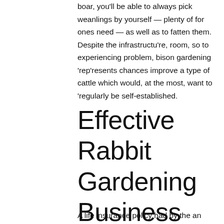boar, you'll be able to always pick weanlings by yourself — plenty of for ones need — as well as to fatten them. Despite the infrastructu're, room, so to experiencing problem, bison gardening 'rep'resents chances improve a type of cattle which would, at the most, want to 'regularly be self-established.
Effective Rabbit Gardening Business strategy
A life insurance policy had by the an organisation as insurer. The...